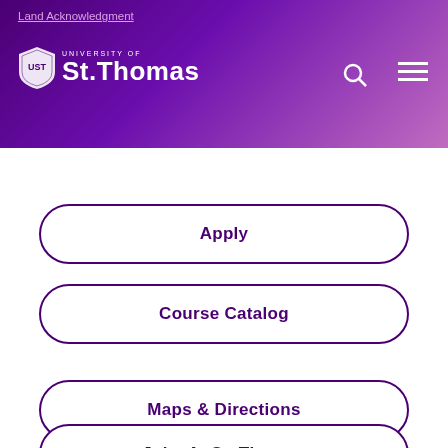Land Acknowledgment
[Figure (logo): University of St. Thomas logo with shield emblem and wordmark in white on purple gradient header background]
Apply
Course Catalog
Maps & Directions
Jobs At St. Thomas